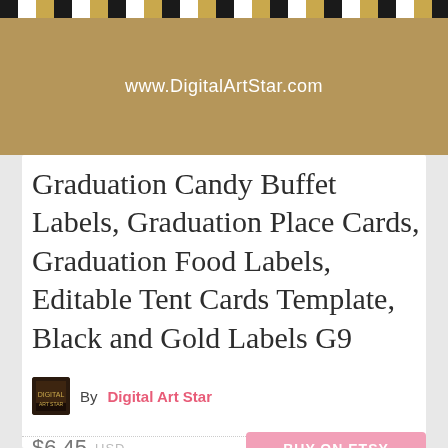[Figure (photo): Top banner with tan/khaki background showing www.DigitalArtStar.com URL and a decorative strip of black, white, and gold graduation-themed labels at the top edge]
Graduation Candy Buffet Labels, Graduation Place Cards, Graduation Food Labels, Editable Tent Cards Template, Black and Gold Labels G9
By Digital Art Star
$6.45 USD
BUY ON ETSY